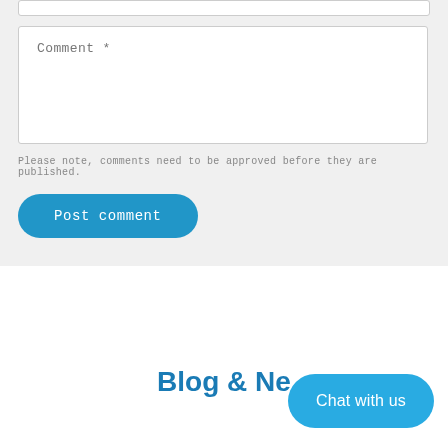Comment *
Please note, comments need to be approved before they are published.
Post comment
Blog & Ne…
Chat with us